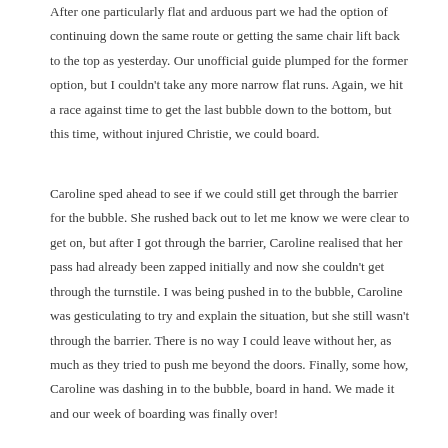After one particularly flat and arduous part we had the option of continuing down the same route or getting the same chair lift back to the top as yesterday. Our unofficial guide plumped for the former option, but I couldn't take any more narrow flat runs. Again, we hit a race against time to get the last bubble down to the bottom, but this time, without injured Christie, we could board.
Caroline sped ahead to see if we could still get through the barrier for the bubble. She rushed back out to let me know we were clear to get on, but after I got through the barrier, Caroline realised that her pass had already been zapped initially and now she couldn't get through the turnstile. I was being pushed in to the bubble, Caroline was gesticulating to try and explain the situation, but she still wasn't through the barrier. There is no way I could leave without her, as much as they tried to push me beyond the doors. Finally, some how, Caroline was dashing in to the bubble, board in hand. We made it and our week of boarding was finally over!